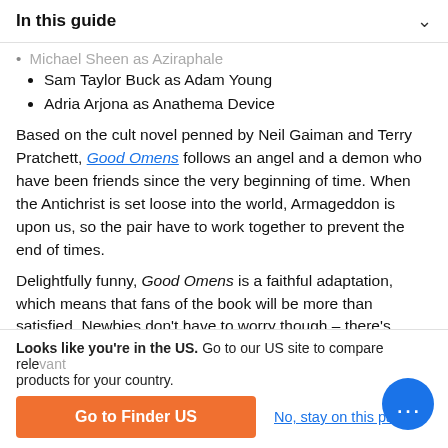In this guide
Michael Sheen as Aziraphale (truncated/partial)
Sam Taylor Buck as Adam Young
Adria Arjona as Anathema Device
Based on the cult novel penned by Neil Gaiman and Terry Pratchett, Good Omens follows an angel and a demon who have been friends since the very beginning of time. When the Antichrist is set loose into the world, Armageddon is upon us, so the pair have to work together to prevent the end of times.
Delightfully funny, Good Omens is a faithful adaptation, which means that fans of the book will be more than satisfied. Newbies don't have to worry though – there's enough greatness here to keep you glued to the screen for all
Looks like you're in the US. Go to our US site to compare relevant products for your country.
Go to Finder US
No, stay on this page